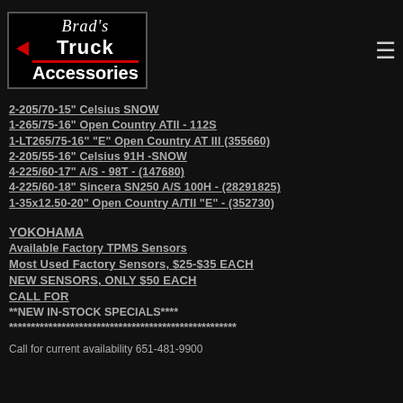Brad's Truck Accessories
2-205/70-15" Celsius SNOW
1-265/75-16" Open Country ATII - 112S
1-LT265/75-16" "E" Open Country AT III (355660)
2-205/55-16" Celsius 91H -SNOW
4-225/60-17" A/S - 98T - (147680)
4-225/60-18" Sincera SN250 A/S 100H - (28291825)
1-35x12.50-20" Open Country A/TII "E" - (352730)
YOKOHAMA
Available Factory TPMS Sensors
Most Used Factory Sensors, $25-$35 EACH
NEW SENSORS, ONLY $50 EACH
CALL FOR
**NEW IN-STOCK SPECIALS****
****************************************************
Call for current availability 651-481-9900